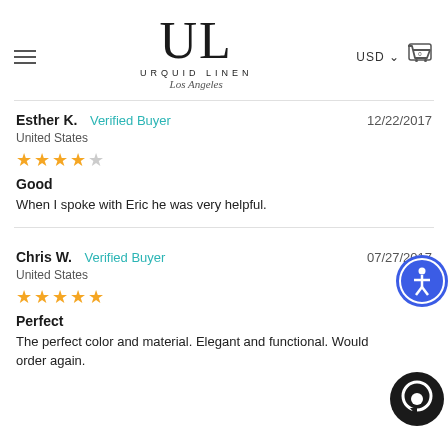URQUID LINEN Los Angeles — USD — Cart
Esther K. Verified Buyer — United States — 12/22/2017 — 4 stars — Good — When I spoke with Eric he was very helpful.
Chris W. Verified Buyer — United States — 07/27/2017 — 5 stars — Perfect — The perfect color and material. Elegant and functional. Would order again.